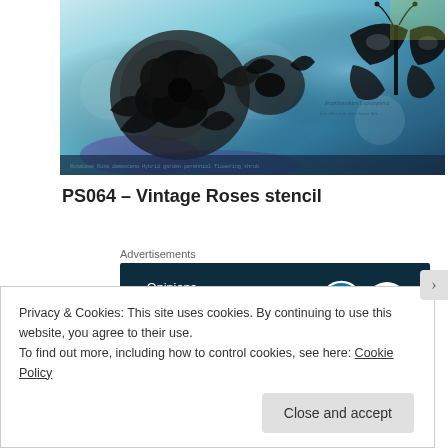[Figure (photo): Vintage roses and butterfly on a teal/blue watercolor background artwork]
PS064 – Vintage Roses stencil
Advertisements
[Figure (infographic): WordPress advertisement banner: 'Opinions. We all have them!' with WordPress and Freshly Pressed logos on dark navy background]
Para el estencil a juego tenía muy claro que quería incluir unos ladrillos desgastados con los que ser capaz de crear
Privacy & Cookies: This site uses cookies. By continuing to use this website, you agree to their use.
To find out more, including how to control cookies, see here: Cookie Policy